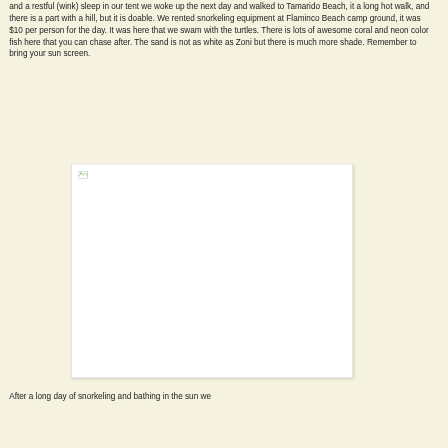and a restful (wink) sleep in our tent we woke up the next day and walked to Tamarido Beach, it a long hot walk, and there is a part with a hill, but it is doable. We rented snorkeling equipment at Flaminco Beach camp ground, it was $10 per person for the day. It was here that we swam with the turtles. There is lots of awesome coral and neon color fish here that you can chase after. The sand is not as white as Zoni but there is much more shade. Remember to bring your sun screen.
[Figure (photo): A broken/missing image placeholder (white rectangle with a small broken image icon in the top-left corner)]
After a long day of snorkeling and bathing in the sun we